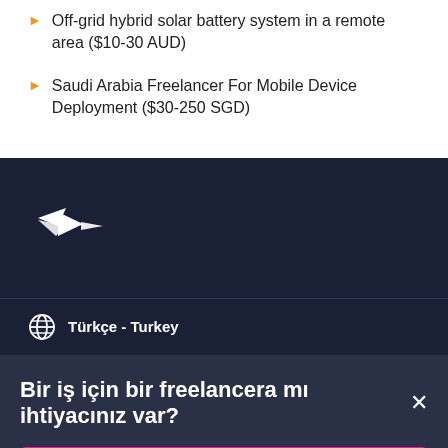Off-grid hybrid solar battery system in a remote area ($10-30 AUD)
Saudi Arabia Freelancer For Mobile Device Deployment ($30-250 SGD)
[Figure (logo): Freelancer.com hummingbird logo in white on dark navy background]
Türkçe - Turkey
Bir iş için bir freelancera mı ihtiyacınız var?
Bir Proje İlan Edin